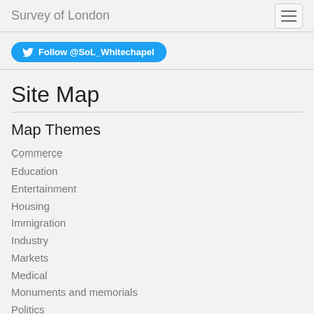Survey of London
Follow @SoL_Whitechapel
Site Map
Map Themes
Commerce
Education
Entertainment
Housing
Immigration
Industry
Markets
Medical
Monuments and memorials
Politics
Poverty